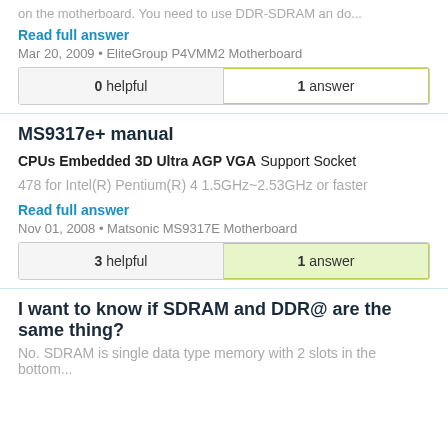on the motherboard. You need to use DDR-SDRAM an do...
Read full answer
Mar 20, 2009 • EliteGroup P4VMM2 Motherboard
| 0 helpful | 1 answer |
| --- | --- |
MS9317e+ manual
CPUs Embedded 3D Ultra AGP VGA Support Socket 478 for Intel(R) Pentium(R) 4 1.5GHz~2.53GHz or faster
Read full answer
Nov 01, 2008 • Matsonic MS9317E Motherboard
| 3 helpful | 1 answer |
| --- | --- |
I want to know if SDRAM and DDR@ are the same thing?
No. SDRAM is single data type memory with 2 slots in the bottom...